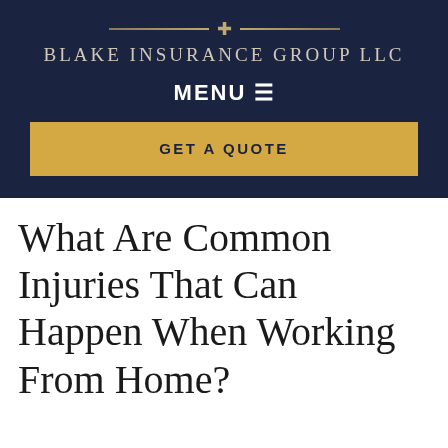[Figure (logo): Blake Insurance Group LLC logo with cross symbol and decorative horizontal rules on dark navy background]
MENU ≡
GET A QUOTE
What Are Common Injuries That Can Happen When Working From Home?